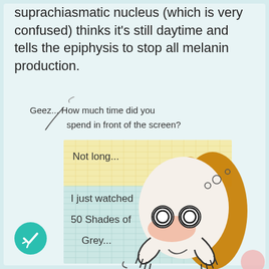suprachiasmatic nucleus (which is very confused) thinks it's still daytime and tells the epiphysis to stop all melanin production.
[Figure (illustration): Comic illustration showing a speech bubble asking 'Geez... How much time did you spend in front of the screen?' with a cartoon girl with spiral eyes, orange hair, and blushing cheeks, with a thought/speech area on graph paper background saying 'Not long... I just watched 50 Shades of Grey...']